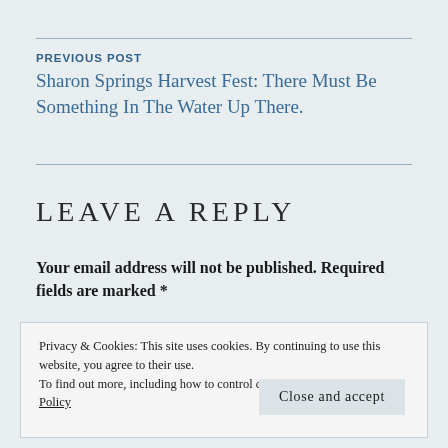PREVIOUS POST
Sharon Springs Harvest Fest: There Must Be Something In The Water Up There.
LEAVE A REPLY
Your email address will not be published. Required fields are marked *
Privacy & Cookies: This site uses cookies. By continuing to use this website, you agree to their use.
To find out more, including how to control cookies, see here: Cookie Policy
Close and accept